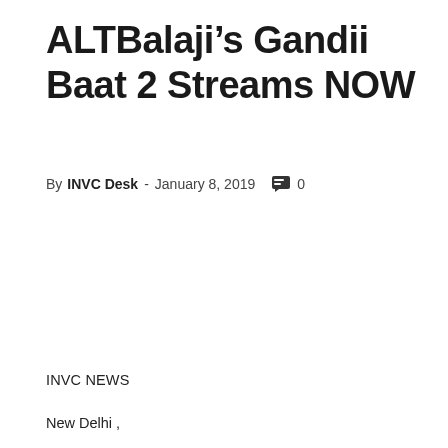ALTBalaji’s Gandii Baat 2 Streams NOW
By INVC Desk - January 8, 2019  💬 0
INVC NEWS
New Delhi ,